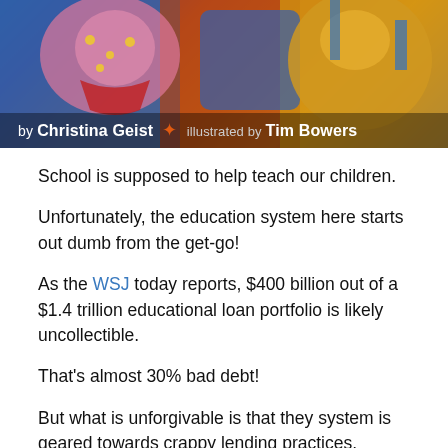[Figure (illustration): Book cover illustration showing colorful painted characters, labeled 'by Christina Geist • illustrated by Tim Bowers']
by Christina Geist • illustrated by Tim Bowers
School is supposed to help teach our children.
Unfortunately, the education system here starts out dumb from the get-go!
As the WSJ today reports, $400 billion out of a $1.4 trillion educational loan portfolio is likely uncollectible.
That's almost 30% bad debt!
But what is unforgivable is that they system is geared towards crappy lending practices.
As per a former head of the Congressional Budget Office (CBO):